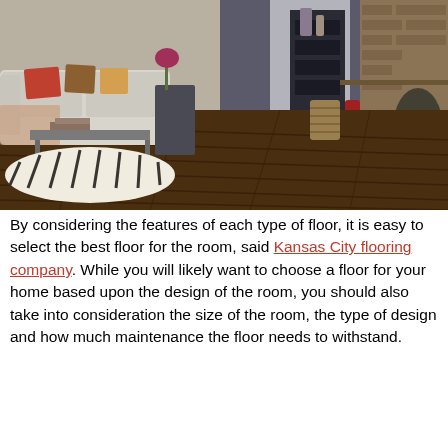[Figure (photo): Interior living room with dark hardwood flooring, a light-colored sofa with decorative pillows, a zebra-print area rug, coffee tables, a fireplace with brick surround on the right, and various decorative items. The room has large windows and dark shelving in the background.]
By considering the features of each type of floor, it is easy to select the best floor for the room, said Kansas City flooring company. While you will likely want to choose a floor for your home based upon the design of the room, you should also take into consideration the size of the room, the type of design and how much maintenance the floor needs to withstand.